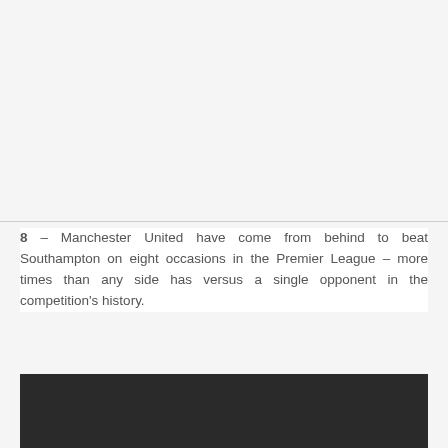[Figure (photo): Top image area, appears blank/light gray (image content not visible)]
8 – Manchester United have come from behind to beat Southampton on eight occasions in the Premier League – more times than any side has versus a single opponent in the competition's history.
[Figure (photo): Bottom image area, dark/black rectangle, partial image visible]